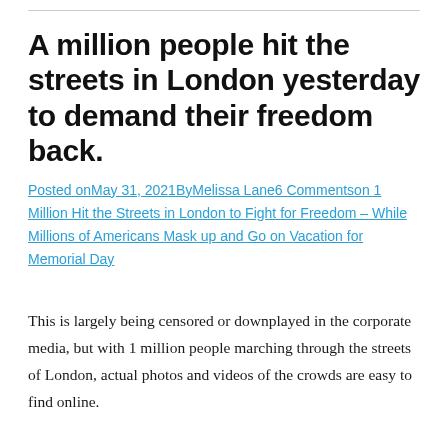A million people hit the streets in London yesterday to demand their freedom back.
Posted onMay 31, 2021ByMelissa Lane6 Commentson 1 Million Hit the Streets in London to Fight for Freedom – While Millions of Americans Mask up and Go on Vacation for Memorial Day
This is largely being censored or downplayed in the corporate media, but with 1 million people marching through the streets of London, actual photos and videos of the crowds are easy to find online.